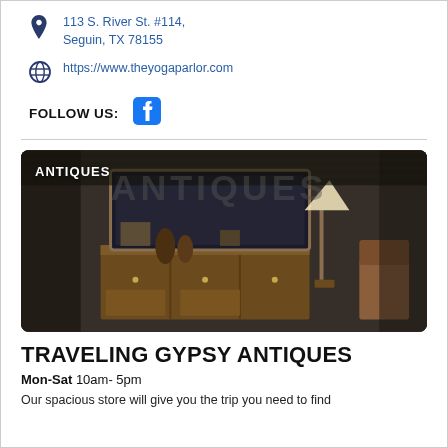113 S. River St. #114, Seguin, TX 78155
https://www.theyogaparlor.com
FOLLOW US:
[Figure (illustration): Photo of antiques store interior with wooden sideboard, lamp, chairs, and brick wall background. Label 'ANTIQUES' in white text top left.]
TRAVELING GYPSY ANTIQUES
Mon-Sat 10am- 5pm
Our spacious store will give you the trip you need to find